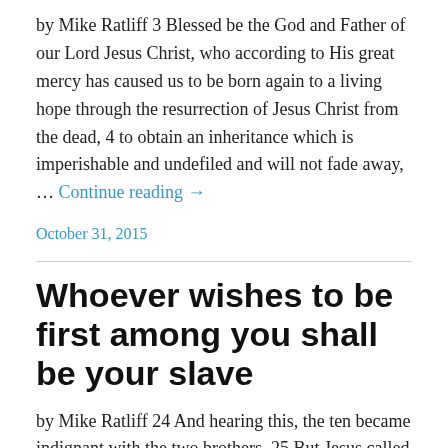by Mike Ratliff 3 Blessed be the God and Father of our Lord Jesus Christ, who according to His great mercy has caused us to be born again to a living hope through the resurrection of Jesus Christ from the dead, 4 to obtain an inheritance which is imperishable and undefiled and will not fade away, … Continue reading →
October 31, 2015
Whoever wishes to be first among you shall be your slave
by Mike Ratliff 24 And hearing this, the ten became indignant with the two brothers. 25 But Jesus called them to Himself and said, "You know that the rulers of the